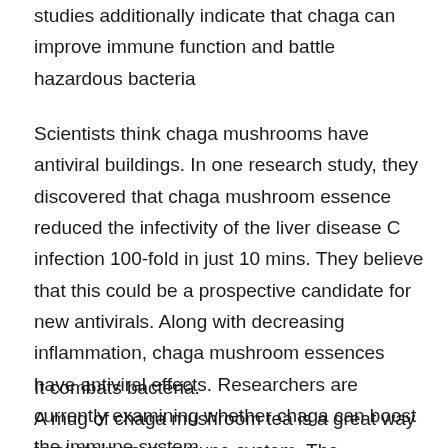studies additionally indicate that chaga can improve immune function and battle hazardous bacteria
Scientists think chaga mushrooms have antiviral buildings. In one research study, they discovered that chaga mushroom essence reduced the infectivity of the liver disease C infection 100-fold in just 10 mins. They believe that this could be a prospective candidate for new antivirals. Along with decreasing inflammation, chaga mushroom essences have antiviral effects. Researchers are currently examining whether chaga can boost the immune system.
It combats bacteria.
A mug of chaga mushroom tea is a great way to sustain your immune system. The mushroom's